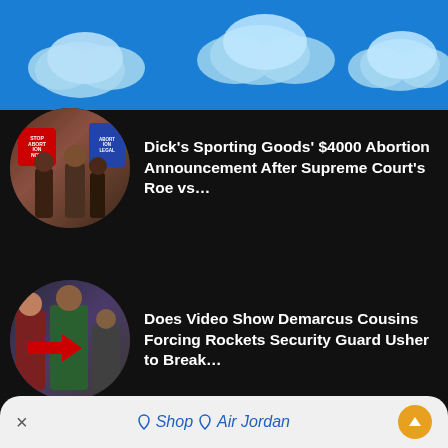[Figure (screenshot): Blue sky background banner at top of mobile app screen]
[Figure (photo): Circular thumbnail showing abortion protest signs including Stop Abortion Now and Abortion Legal signs]
Dick's Sporting Goods' $4000 Abortion Announcement After Supreme Court's Roe vs…
[Figure (photo): Circular thumbnail showing basketball scene with red arrow pointing at person, Demarcus Cousins incident]
Does Video Show Demarcus Cousins Forcing Rockets Security Guard Usher to Break…
[Figure (photo): Circular thumbnail showing person in red argyle sweater and COVID-19 coronavirus illustration]
Cliff Paul Trends After Chris Paul COVID-19 Quarantine Suspension News
× Shop ♢ Air Jordan ↑